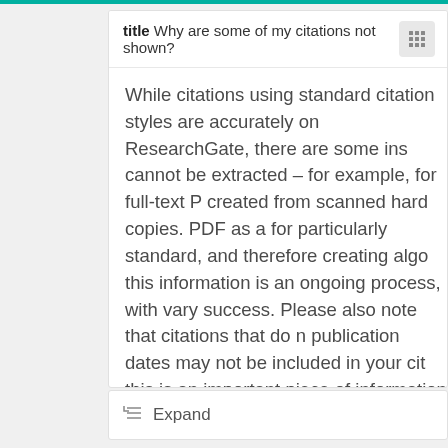title Why are some of my citations not shown?
While citations using standard citation styles are accurately on ResearchGate, there are some ins cannot be extracted – for example, for full-text P created from scanned hard copies. PDF as a for particularly standard, and therefore creating algo this information is an ongoing process, with vary success. Please also note that citations that do n publication dates may not be included in your cit this is an important piece of information when it citations to publications correctly. Additionally, if t not on ResearchGate, this can also hinder our e citation. Our citation data is regularly updated an hard to improve how we extract and match citati
Expand